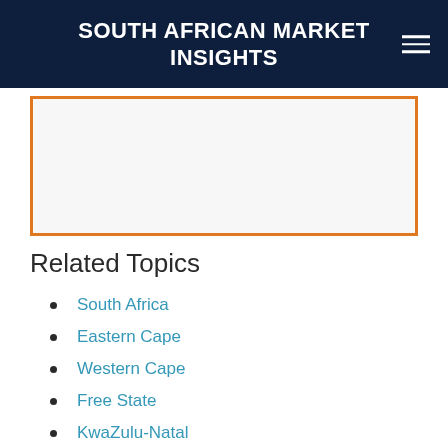SOUTH AFRICAN MARKET INSIGHTS
[Figure (other): White content box with orange border, partially visible]
Related Topics
South Africa
Eastern Cape
Western Cape
Free State
KwaZulu-Natal